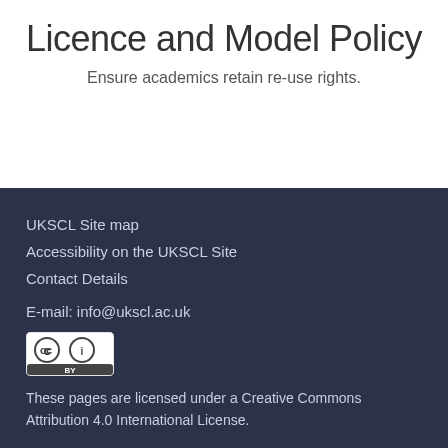Licence and Model Policy
Ensure academics retain re-use rights.
UKSCL Site map
Accessibility on the UKSCL Site
Contact Details
E-mail: info@ukscl.ac.uk
[Figure (logo): Creative Commons BY license badge showing CC and BY icons in a rounded rectangle]
These pages are licensed under a Creative Commons Attribution 4.0 International License.